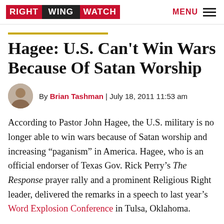RIGHT WING WATCH | MENU
Hagee: U.S. Can't Win Wars Because Of Satan Worship
By Brian Tashman | July 18, 2011 11:53 am
According to Pastor John Hagee, the U.S. military is no longer able to win wars because of Satan worship and increasing “paganism” in America. Hagee, who is an official endorser of Texas Gov. Rick Perry’s The Response prayer rally and a prominent Religious Right leader, delivered the remarks in a speech to last year’s Word Explosion Conference in Tulsa, Oklahoma.